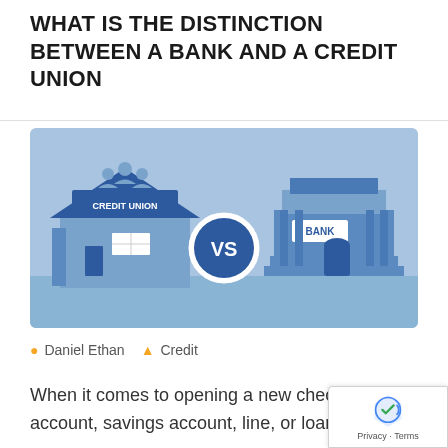WHAT IS THE DISTINCTION BETWEEN A BANK AND A CREDIT UNION
[Figure (illustration): Illustration showing a Credit Union building on the left (with people icons on the roof and a sign reading CREDIT UNION) facing a Bank building on the right (with a sign reading BANK), with a circular VS badge in the middle, all on a light blue background.]
Daniel Ethan   Credit
When it comes to opening a new checking account, savings account, line, or loan of credi